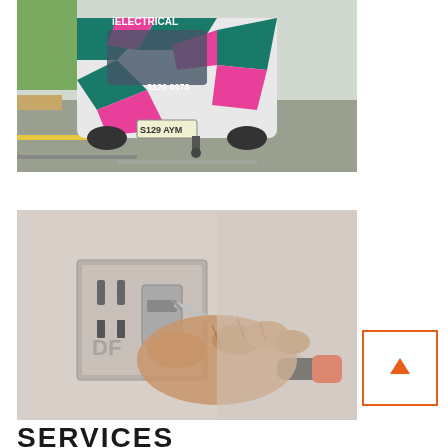[Figure (photo): Rear view of an iElectrical branded van with pink and teal/green geometric wrap design, showing phone number 8120 0978 and licence plate S129 AYM, parked on a road/carpark.]
[Figure (photo): Close-up of a person's hand using a screwdriver to install or adjust an electrical wall outlet/switch plate on a white wall.]
SERVICES